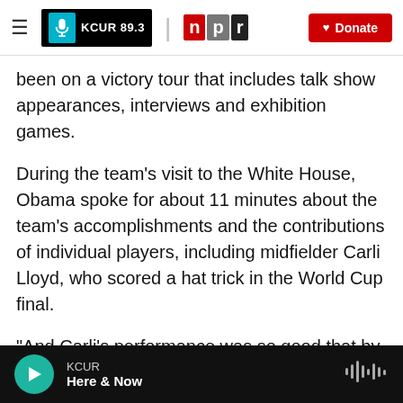KCUR 89.3 | npr | Donate
been on a victory tour that includes talk show appearances, interviews and exhibition games.
During the team's visit to the White House, Obama spoke for about 11 minutes about the team's accomplishments and the contributions of individual players, including midfielder Carli Lloyd, who scored a hat trick in the World Cup final.
"And Carli's performance was so good that by the time the game was over, someone had changed her title on Wikipedia from 'midfielder' to 'president of the United States.' Which, by the way, the job is
KCUR
Here & Now